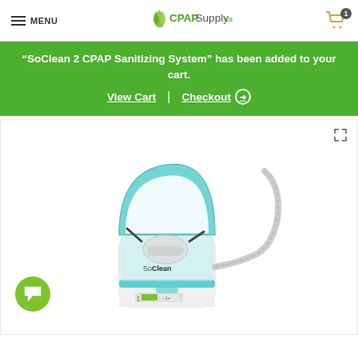MENU | CPAPSupply.ca | Cart (1)
“SoClean 2 CPAP Sanitizing System” has been added to your cart.
View Cart | Checkout ➔
[Figure (photo): SoClean 2 CPAP Sanitizing System device with open lid, showing CPAP mask inside, with hose attached, white and teal colored unit with SoClean branding]